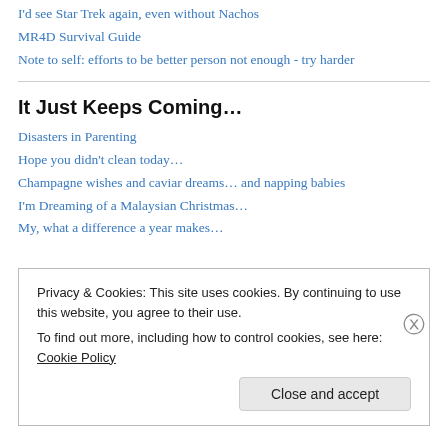I'd see Star Trek again, even without Nachos
MR4D Survival Guide
Note to self: efforts to be better person not enough - try harder
It Just Keeps Coming…
Disasters in Parenting
Hope you didn't clean today…
Champagne wishes and caviar dreams… and napping babies
I'm Dreaming of a Malaysian Christmas…
My, what a difference a year makes…
Privacy & Cookies: This site uses cookies. By continuing to use this website, you agree to their use.
To find out more, including how to control cookies, see here: Cookie Policy